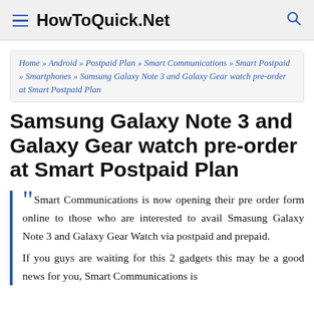HowToQuick.Net
Home » Android » Postpaid Plan » Smart Communications » Smart Postpaid » Smartphones » Samsung Galaxy Note 3 and Galaxy Gear watch pre-order at Smart Postpaid Plan
Samsung Galaxy Note 3 and Galaxy Gear watch pre-order at Smart Postpaid Plan
“Smart Communications is now opening their pre order form online to those who are interested to avail Smasung Galaxy Note 3 and Galaxy Gear Watch via postpaid and prepaid. If you guys are waiting for this 2 gadgets this may be a good news for you, Smart Communications is